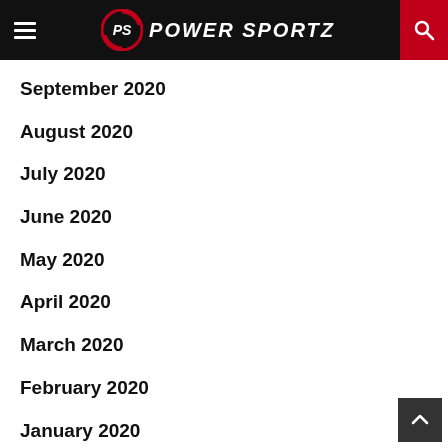PS POWER SPORTZ
September 2020
August 2020
July 2020
June 2020
May 2020
April 2020
March 2020
February 2020
January 2020
December 2019
November 2019
October 2019
September 2019
August 2019